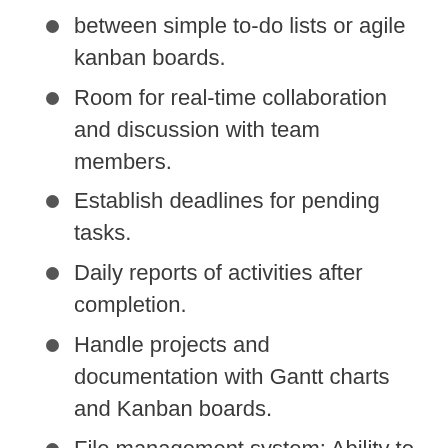between simple to-do lists or agile kanban boards.
Room for real-time collaboration and discussion with team members.
Establish deadlines for pending tasks.
Daily reports of activities after completion.
Handle projects and documentation with Gantt charts and Kanban boards.
File management system: Ability to share files, review, and annotate design files using markup tools, proof, and approve them.
Integrations with several apps for